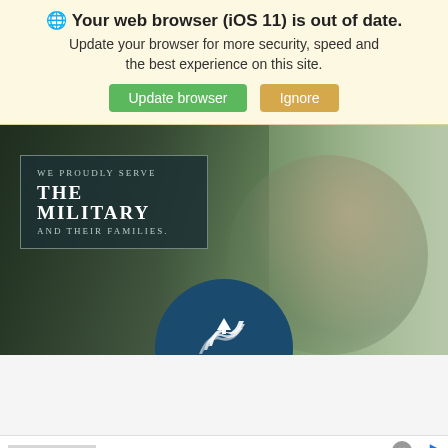🌐 Your web browser (iOS 11) is out of date. Update your browser for more security, speed and the best experience on this site. [Update browser] [Ignore]
[Figure (photo): USAA promotional banner showing a child holding a small American flag with trees in the background. Text overlay reads 'WE PROUDLY SERVE THE MILITARY AND THEIR FAMILIES.' with the USAA logo circle at the bottom center.]
[Figure (advertisement): Online advertisement for Wayfair: 'Online Home Store for Furniture. Shop Wayfair for A Zillion Things Home across all styles. www.wayfair.com' with furniture image thumbnail and blue arrow circle.]